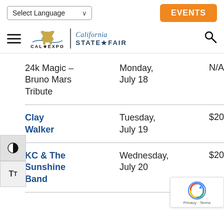Select Language | EVENTS
[Figure (logo): Cal Expo and California State Fair logo with hamburger menu and search icon]
| Event | Date | Price |
| --- | --- | --- |
| 24k Magic – Bruno Mars Tribute | Monday, July 18 | N/A |
| Clay Walker | Tuesday, July 19 | $20 |
| KC & The Sunshine Band | Wednesday, July 20 | $20 |